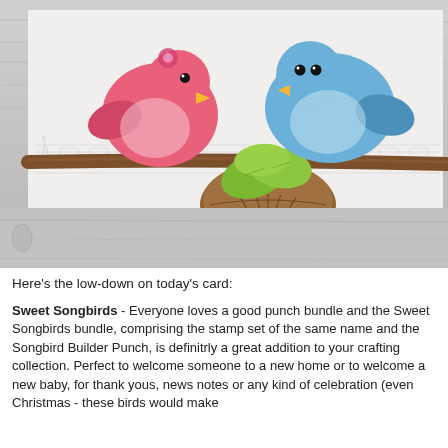[Figure (photo): A handmade paper craft card featuring two birds (one pink, one blue) sitting on a branch with a woven nest containing green leaves. The card has an embossed music staff pattern in the background, placed on a light wood grain surface.]
Here's the low-down on today's card:
Sweet Songbirds - Everyone loves a good punch bundle and the Sweet Songbirds bundle, comprising the stamp set of the same name and the Songbird Builder Punch, is definitrly a great addition to your crafting collection. Perfect to welcome someone to a new home or to welcome a new baby, for thank yous, news notes or any kind of celebration (even Christmas - these birds would make